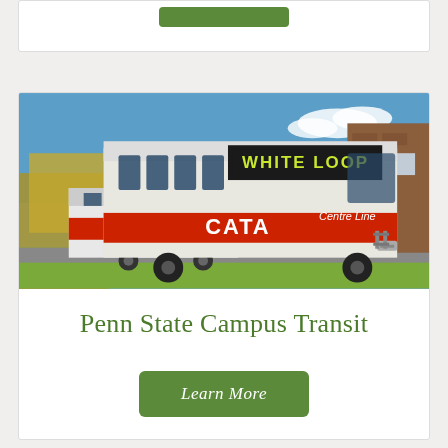[Figure (photo): Green button element at the top of a card]
[Figure (photo): Photo of two CATA buses on a campus street. The lead bus displays 'WHITE LOOP' on its destination sign and 'Centre Line' on its side. Both buses are white with red CATA branding. Autumn trees and a brick building are visible in the background.]
Penn State Campus Transit
Learn More